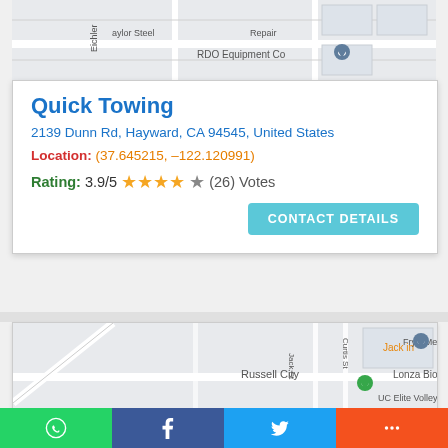[Figure (map): Google Maps screenshot showing RDO Equipment Co location near Taylor Steel Repair, with street labels Eichler and a map pin marker.]
Quick Towing
2139 Dunn Rd, Hayward, CA 94545, United States
Location: (37.645215, -122.120991)
Rating: 3.9/5 ★★★★☆ (26) Votes
CONTACT DETAILS
[Figure (map): Google Maps screenshot showing Fry's Metals, Russell City, Lonza Biologics, UC Elite Volleyba, Jack in the Box, with map pin markers and street labels including Jack St, Corsair Blvd, Curtis St.]